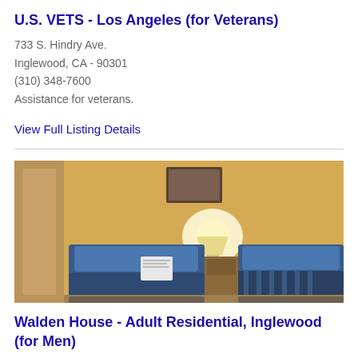U.S. VETS - Los Angeles (for Veterans)
733 S. Hindry Ave.
Inglewood, CA - 90301
(310) 348-7600
Assistance for veterans.
View Full Listing Details
[Figure (photo): Interior photo of a bedroom with two twin beds covered in blue/denim bedspreads, a lamp on a nightstand between them, a framed picture on the wall, and warm yellow walls. There is also a partial view of a wooden panel on the left.]
Walden House - Adult Residential, Inglewood (for Men)
4926 West Century Blvd, 4115 West Century Blvd, And